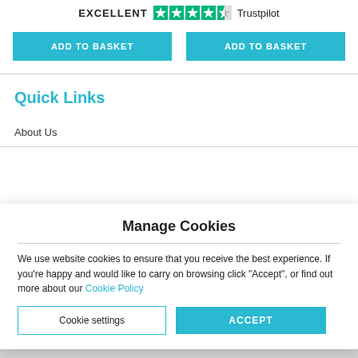EXCELLENT ★★★★½ Trustpilot
[Figure (other): Two teal 'ADD TO BASKET' buttons side by side]
Quick Links
About Us
Manage Cookies
We use website cookies to ensure that you receive the best experience. If you're happy and would like to carry on browsing click "Accept", or find out more about our Cookie Policy
Cookie settings  ACCEPT